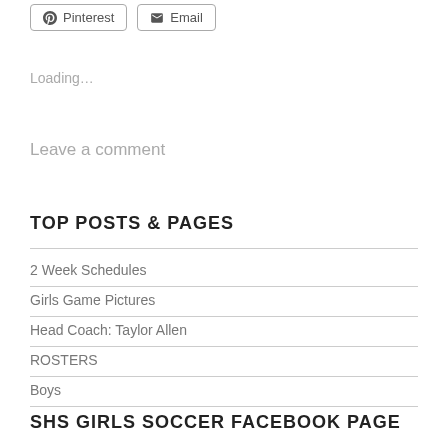[Figure (screenshot): Two buttons: Pinterest (with Pinterest icon) and Email (with envelope icon)]
Loading…
Leave a comment
TOP POSTS & PAGES
2 Week Schedules
Girls Game Pictures
Head Coach: Taylor Allen
ROSTERS
Boys
SHS GIRLS SOCCER FACEBOOK PAGE